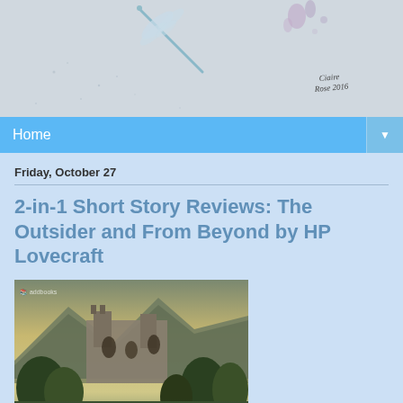[Figure (illustration): Watercolor illustration showing a dragonfly and scattered spots on a light grey textured background, with a handwritten signature in the lower right]
Home ▼
Friday, October 27
2-in-1 Short Story Reviews: The Outsider and From Beyond by HP Lovecraft
[Figure (illustration): Book cover or illustration showing a ruined castle or building on a hillside with mountains in the background and trees in the foreground, dark moody fantasy style]